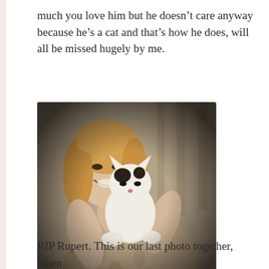much you love him but he doesn’t care anyway because he’s a cat and that’s how he does, will all be missed hugely by me.
[Figure (photo): Black and white sepia-toned photograph of a smiling blonde woman holding a black and white cat up in front of her. The photo has a vignette effect darkening the corners.]
RIP Rupert. This is our last photo together, when